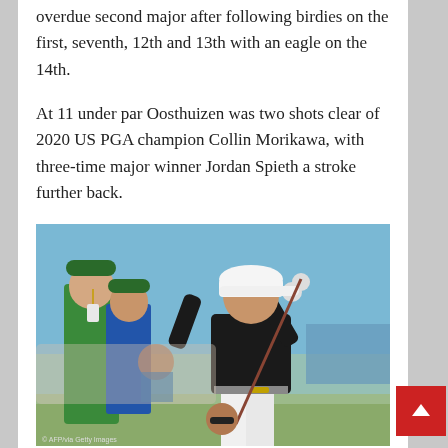overdue second major after following birdies on the first, seventh, 12th and 13th with an eagle on the 14th.
At 11 under par Oosthuizen was two shots clear of 2020 US PGA champion Collin Morikawa, with three-time major winner Jordan Spieth a stroke further back.
[Figure (photo): Golfer (Louis Oosthuizen) mid-swing in white trousers and black shirt with white cap, with two marshals in green vests watching in the background, crowd visible behind, coastal setting.]
Oosthuizen won this competition in